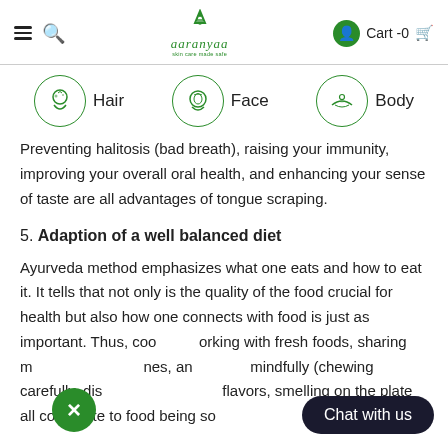Aaranyaa — Hair | Face | Body (navigation bar with cart)
Preventing halitosis (bad breath), raising your immunity, improving your overall oral health, and enhancing your sense of taste are all advantages of tongue scraping.
5. Adaption of a well balanced diet
Ayurveda method emphasizes what one eats and how to eat it. It tells that not only is the quality of the food crucial for health but also how one connects with food is just as important. Thus, cooking with fresh foods, sharing meals with loved ones, and eating mindfully (chewing carefully, distinguishing all the flavors, smelling on the plate all contribute to food being so medicinal...